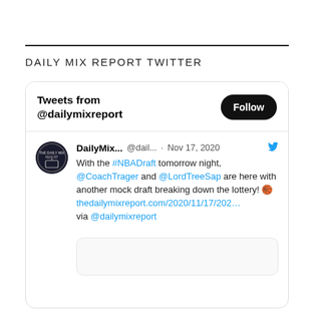DAILY MIX REPORT TWITTER
[Figure (screenshot): Twitter widget showing tweets from @dailymixreport. Header shows 'Tweets from @dailymixreport' with a Follow button. A tweet from DailyMix... @dail... Nov 17, 2020 reads: With the #NBADraft tomorrow night, @CoachTrager and @LordTreeSap are here with another mock draft breaking down the lottery! 🏀 thedailymixreport.com/2020/11/17/202... via @dailymixreport]